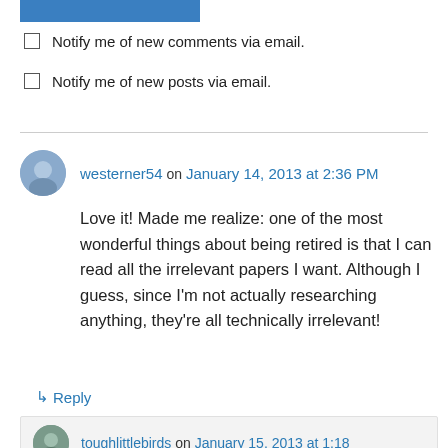[Figure (other): Blue button/bar at top of page]
Notify me of new comments via email.
Notify me of new posts via email.
westerner54 on January 14, 2013 at 2:36 PM
Love it! Made me realize: one of the most wonderful things about being retired is that I can read all the irrelevant papers I want. Although I guess, since I’m not actually researching anything, they’re all technically irrelevant!
↳ Reply
toughlittlebirds on January 15, 2013 at 1:18